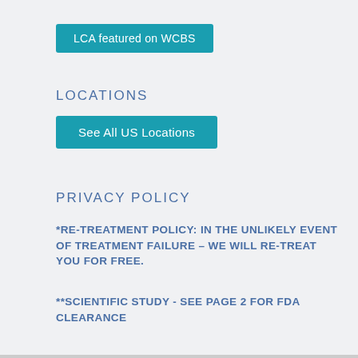[Figure (other): Teal button labeled 'LCA featured on WCBS']
LOCATIONS
[Figure (other): Teal button labeled 'See All US Locations']
PRIVACY POLICY
*RE-TREATMENT POLICY: IN THE UNLIKELY EVENT OF TREATMENT FAILURE – WE WILL RE-TREAT YOU FOR FREE.
**SCIENTIFIC STUDY - SEE PAGE 2 FOR FDA CLEARANCE